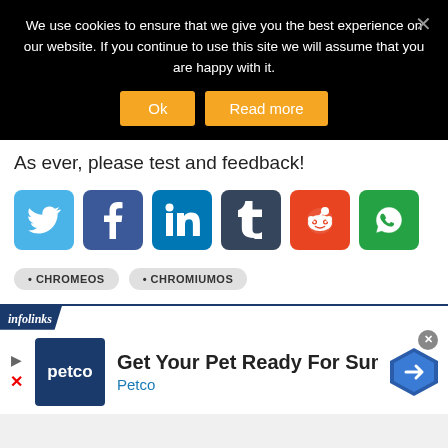We use cookies to ensure that we give you the best experience on our website. If you continue to use this site we will assume that you are happy with it.
As ever, please test and feedback!
[Figure (infographic): Six social media share buttons in a row: Twitter (light blue), Facebook (dark blue), LinkedIn (blue), Tumblr (dark navy), Reddit (orange-red), WhatsApp (green)]
• CHROMEOS  • CHROMIUMOS
[Figure (infographic): Infolinks ad banner: Get Your Pet Ready For Summe - Petco, with Petco logo and blue diamond arrow icon]